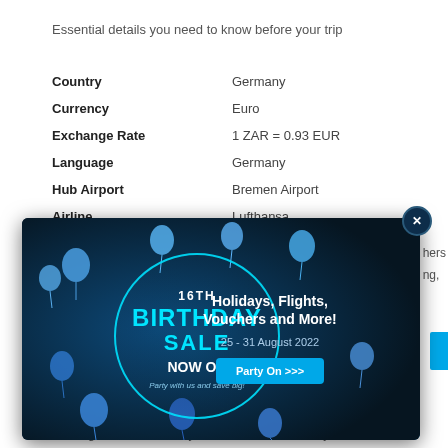Essential details you need to know before your trip
| Field | Value |
| --- | --- |
| Country | Germany |
| Currency | Euro |
| Exchange Rate | 1 ZAR = 0.93 EUR |
| Language | Germany |
| Hub Airport | Bremen Airport |
| Airline | Lufthansa |
| Time Zone | GMT +1 |
[Figure (screenshot): 16th Birthday Sale promotional banner/modal with balloons on a dark blue background. Text: '16TH BIRTHDAY SALE NOW ON', 'Party with us and save big!', 'Holidays, Flights, Vouchers and More!', '25 - 31 August 2022', 'Party On >>>' button. Close button (X) in top right corner.]
Boniaonte Embankment, has a stunning magnetism, drawing crowds to the city in the heart of the frosty